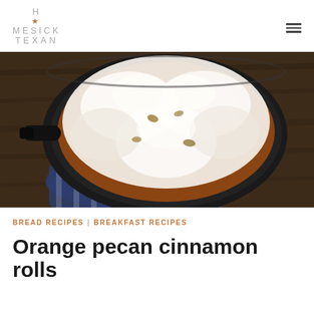HOMESICK TEXAN
[Figure (photo): Overhead photo of orange pecan cinnamon rolls in a black cast iron skillet topped with white cream cheese frosting, sitting on a blue and white striped cloth on a dark wood surface.]
BREAD RECIPES | BREAKFAST RECIPES
Orange pecan cinnamon rolls